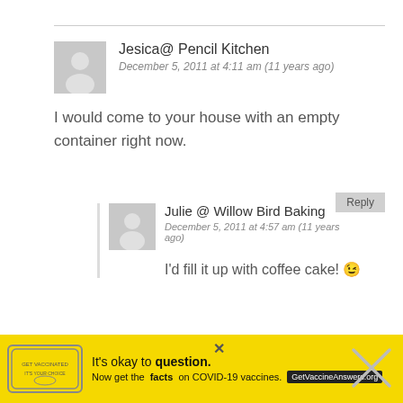Jesica@ Pencil Kitchen
December 5, 2011 at 4:11 am (11 years ago)
I would come to your house with an empty container right now.
Reply
Julie @ Willow Bird Baking
December 5, 2011 at 4:57 am (11 years ago)
I'd fill it up with coffee cake! 😉
Reply
Katie
It's okay to question. Now get the facts on COVID-19 vaccines. GetVaccineAnswers.org